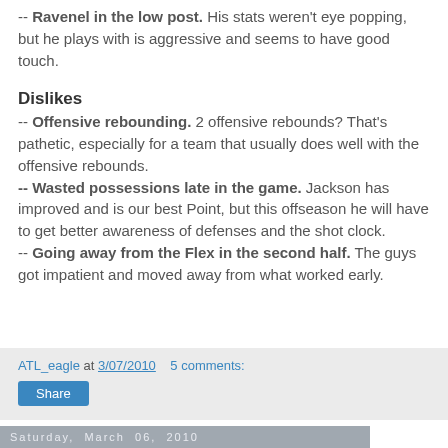-- Ravenel in the low post. His stats weren't eye popping, but he plays with is aggressive and seems to have good touch.
Dislikes
-- Offensive rebounding. 2 offensive rebounds? That's pathetic, especially for a team that usually does well with the offensive rebounds.
-- Wasted possessions late in the game. Jackson has improved and is our best Point, but this offseason he will have to get better awareness of defenses and the shot clock.
-- Going away from the Flex in the second half. The guys got impatient and moved away from what worked early.
ATL_eagle at 3/07/2010   5 comments:
Share
Saturday, March 06, 2010